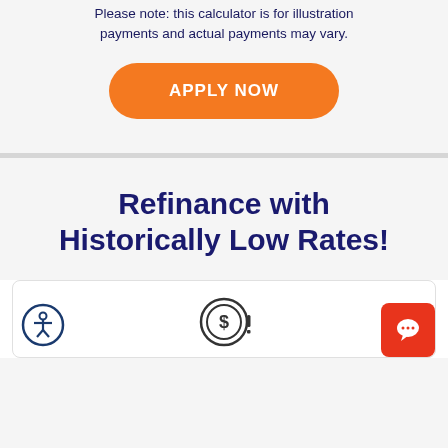Please note: this calculator is for illustration payments and actual payments may vary.
[Figure (other): Orange 'APPLY NOW' button with rounded corners]
Refinance with Historically Low Rates!
[Figure (other): White card section beginning with accessibility icon on left, dollar sign coin icon in center, and orange chat bubble button on right]